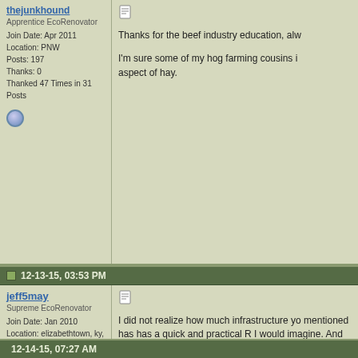thejunkhound
Apprentice EcoRenovator
Join Date: Apr 2011
Location: PNW
Posts: 197
Thanks: 0
Thanked 47 Times in 31 Posts
Thanks for the beef industry education, alw
I'm sure some of my hog farming cousins i aspect of hay.
12-13-15, 03:53 PM
jeff5may
Supreme EcoRenovator
Join Date: Jan 2010
Location: elizabethtown, ky, USA
Posts: 2,424
Thanks: 427
Thanked 618 Times in 516 Posts
I did not realize how much infrastructure yo mentioned has has a quick and practical R I would imagine. And the healthy cattle hav the water being pumped from the ground h me.

I would definitely look into pushing some of few hours for short-term outages. It could p solar could recharge the reserve and powe do its duty while you fired up the tractor, or like a bad idea, just buy more panels with t year.
12-14-15, 07:27 AM